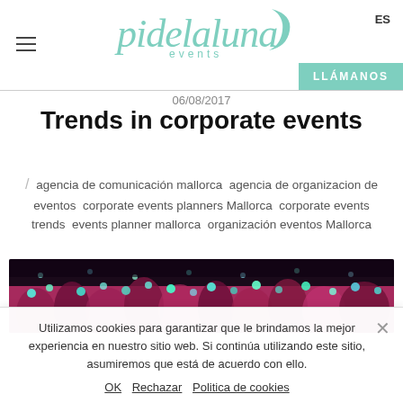pidelaluna events | ES | LLÁMANOS
06/08/2017
Trends in corporate events
agencia de comunicación mallorca  agencia de organizacion de eventos  corporate events planners Mallorca  corporate events trends  events planner mallorca  organización eventos Mallorca
[Figure (photo): Crowd at a nighttime event with colorful lights and people wearing glowing accessories in pink, blue and green.]
Utilizamos cookies para garantizar que le brindamos la mejor experiencia en nuestro sitio web. Si continúa utilizando este sitio, asumiremos que está de acuerdo con ello. OK  Rechazar  Politica de cookies